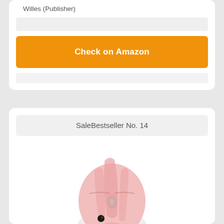Willes (Publisher)
Check on Amazon
SaleBestseller No. 14
[Figure (photo): A pink hamster-shaped wireless computer mouse product photo]